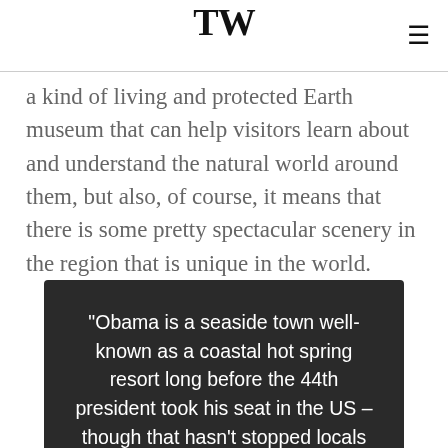TW
a kind of living and protected Earth museum that can help visitors learn about and understand the natural world around them, but also, of course, it means that there is some pretty spectacular scenery in the region that is unique in the world.
“Obama is a seaside town well-known as a coastal hot spring resort long before the 44th president took his seat in the US – though that hasn’t stopped locals emblazoning